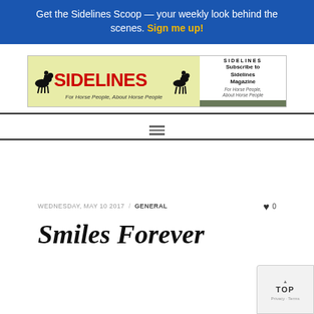Get the Sidelines Scoop — your weekly look behind the scenes. Sign me up!
[Figure (logo): Sidelines Magazine logo banner with horse silhouettes and tagline 'For Horse People, About Horse People', alongside a subscription advertisement panel.]
WEDNESDAY, MAY 10 2017 / GENERAL  ♥ 0
Smiles Forever